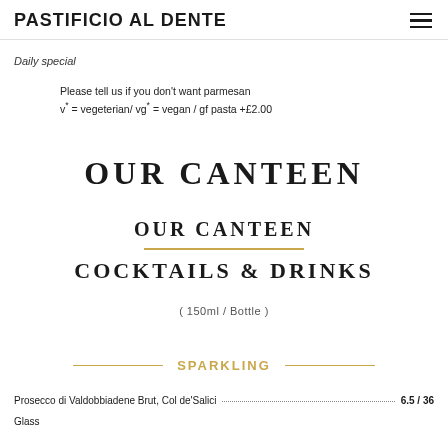PASTIFICIO AL DENTE
Daily special
Please tell us if you don't want parmesan
v* = vegeterian/ vg* = vegan / gf pasta +£2.00
OUR CANTEEN
OUR CANTEEN
COCKTAILS & DRINKS
( 150ml / Bottle )
SPARKLING
Prosecco di Valdobbiadene Brut, Col de'Salici  6.5 / 36
Glass